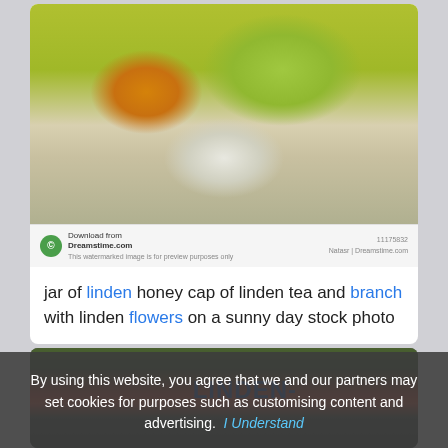[Figure (photo): Stock photo of a jar of linden honey, a glass cup of linden tea, honey dipper, and linden branch with yellow flowers on a sunny day, from Dreamstime.com]
jar of linden honey cap of linden tea and branch with linden flowers on a sunny day stock photo
[Figure (photo): Photo of a building with LINDEN- sign, surrounded by autumn trees with orange-red foliage]
By using this website, you agree that we and our partners may set cookies for purposes such as customising content and advertising.   I Understand